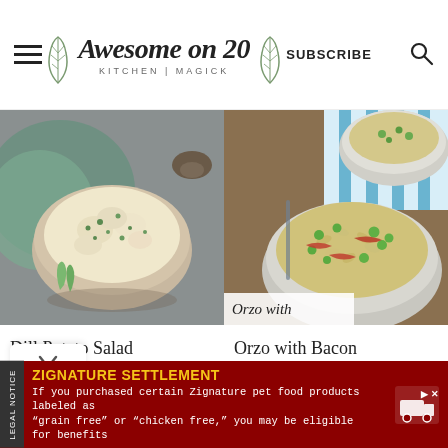Awesome on 20 KITCHEN | MAGICK | SUBSCRIBE
[Figure (photo): Bowl of dill potato salad with green herbs on top, in a gray bowl, on a gray surface with green linen]
[Figure (photo): Two bowls of orzo pasta with bacon and peas on a striped blue and white cloth, with label 'Orzo with']
Dill Potato Salad
Orzo with Bacon and Peas
ZIGNATURE SETTLEMENT
If you purchased certain Zignature pet food products labeled as "grain free" or "chicken free," you may be eligible for benefits